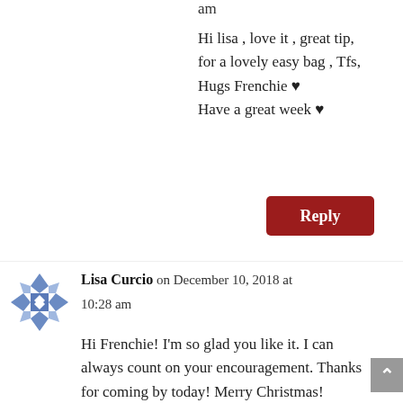am
Hi lisa , love it , great tip, for a lovely easy bag , Tfs,
Hugs Frenchie ♥
Have a great week ♥
Reply
Lisa Curcio on December 10, 2018 at 10:28 am
Hi Frenchie! I'm so glad you like it. I can always count on your encouragement. Thanks for coming by today! Merry Christmas!